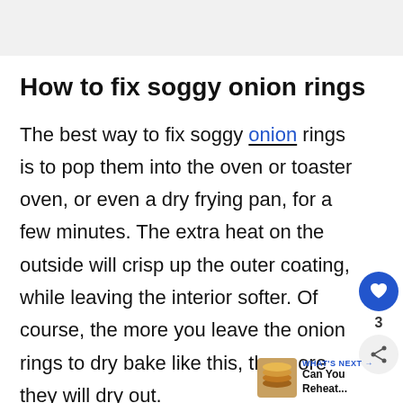How to fix soggy onion rings
The best way to fix soggy onion rings is to pop them into the oven or toaster oven, or even a dry frying pan, for a few minutes. The extra heat on the outside will crisp up the outer coating, while leaving the interior softer. Of course, the more you leave the onion rings to dry bake like this, the more they will dry out.